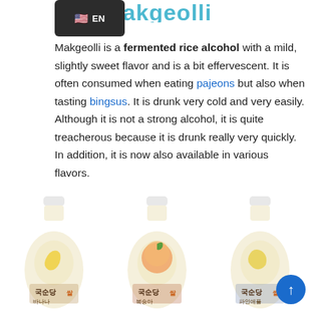makgeolli
[Figure (screenshot): Language selector badge showing US flag and 'EN' text on dark background]
Makgeolli is a fermented rice alcohol with a mild, slightly sweet flavor and is a bit effervescent. It is often consumed when eating pajeons but also when tasting bingsus. It is drunk very cold and very easily. Although it is not a strong alcohol, it is quite treacherous because it is drunk really very quickly. In addition, it is now also available in various flavors.
[Figure (photo): Three bottles of Kooksoondang makgeolli in different fruit flavors: banana, peach, and another variety, displayed side by side on white background]